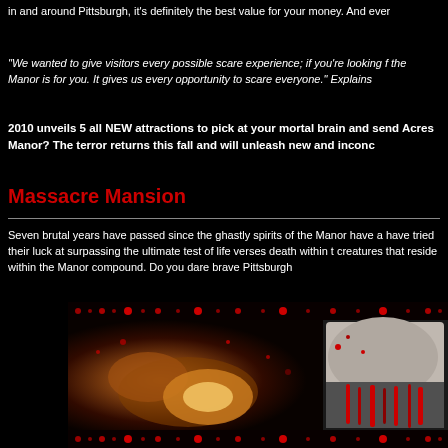in and around Pittsburgh, it's definitely the best value for your money.  And ever
"We wanted to give visitors every possible scare experience; if you're looking f the Manor is for you.  It gives us every opportunity to scare everyone." Explains
2010 unveils 5 all NEW attractions to pick at your mortal brain and send Acres Manor? The terror returns this fall and will unleash new and inconc
Massacre Mansion
Seven brutal years have passed since the ghastly spirits of the Manor have a have tried their luck at surpassing the ultimate test of life verses death within t creatures that reside within the Manor compound. Do you dare brave Pittsburgh
[Figure (photo): Horror attraction promotional photo showing a dramatic scene with golden/warm lighting, figures in distress, red blood splatter decorative borders at top and bottom, and a face with blood drips on the right side]